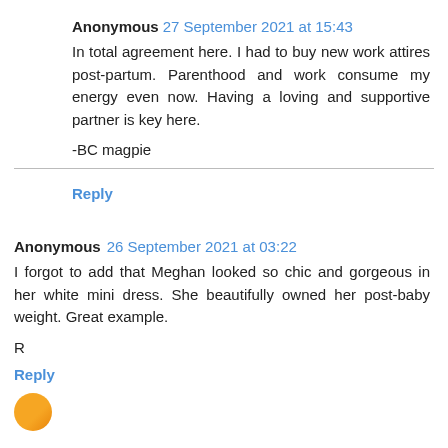Anonymous 27 September 2021 at 15:43
In total agreement here. I had to buy new work attires post-partum. Parenthood and work consume my energy even now. Having a loving and supportive partner is key here.
-BC magpie
Reply
Anonymous 26 September 2021 at 03:22
I forgot to add that Meghan looked so chic and gorgeous in her white mini dress. She beautifully owned her post-baby weight. Great example.
R
Reply